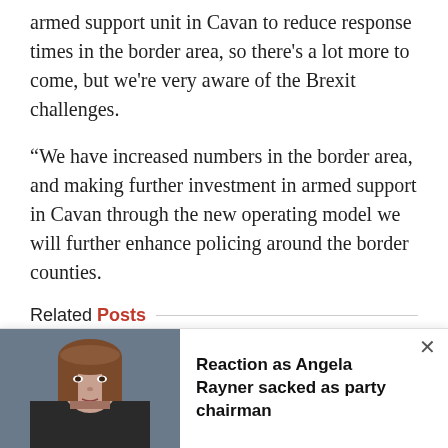armed support unit in Cavan to reduce response times in the border area, so there's a lot more to come, but we're very aware of the Brexit challenges.
“We have increased numbers in the border area, and making further investment in armed support in Cavan through the new operating model we will further enhance policing around the border counties.
Related Posts
Finland’s dancing PM hits out at leak of ‘private’ party footage
Move over, Boris: Finland’s PM is a proper raver
Trump comments come back to haunt him
[Figure (photo): Photo of Angela Rayner, a woman with brown hair]
Reaction as Angela Rayner sacked as party chairman